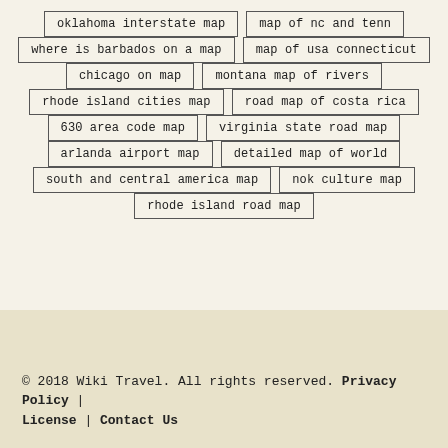oklahoma interstate map
map of nc and tenn
where is barbados on a map
map of usa connecticut
chicago on map
montana map of rivers
rhode island cities map
road map of costa rica
630 area code map
virginia state road map
arlanda airport map
detailed map of world
south and central america map
nok culture map
rhode island road map
© 2018 Wiki Travel. All rights reserved. Privacy Policy | License | Contact Us